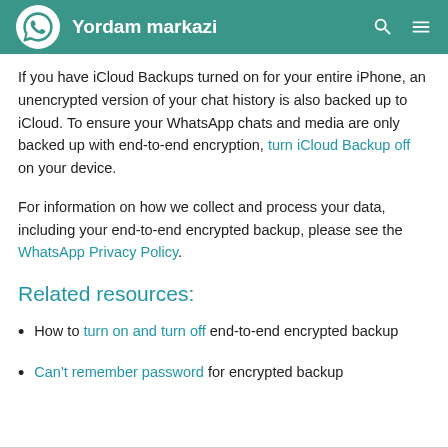Yordam markazi
If you have iCloud Backups turned on for your entire iPhone, an unencrypted version of your chat history is also backed up to iCloud. To ensure your WhatsApp chats and media are only backed up with end-to-end encryption, turn iCloud Backup off on your device.
For information on how we collect and process your data, including your end-to-end encrypted backup, please see the WhatsApp Privacy Policy.
Related resources:
How to turn on and turn off end-to-end encrypted backup
Can't remember password for encrypted backup